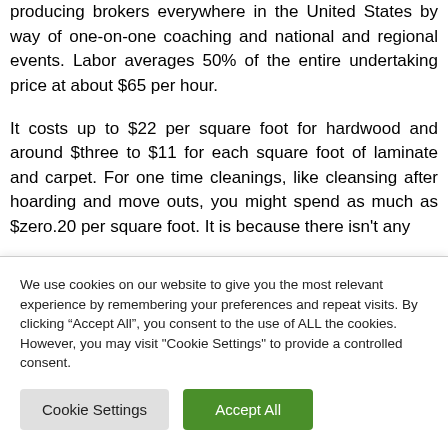producing brokers everywhere in the United States by way of one-on-one coaching and national and regional events. Labor averages 50% of the entire undertaking price at about $65 per hour.
It costs up to $22 per square foot for hardwood and around $three to $11 for each square foot of laminate and carpet. For one time cleanings, like cleansing after hoarding and move outs, you might spend as much as $zero.20 per square foot. It is because there isn't any...
We use cookies on our website to give you the most relevant experience by remembering your preferences and repeat visits. By clicking “Accept All”, you consent to the use of ALL the cookies. However, you may visit "Cookie Settings" to provide a controlled consent.